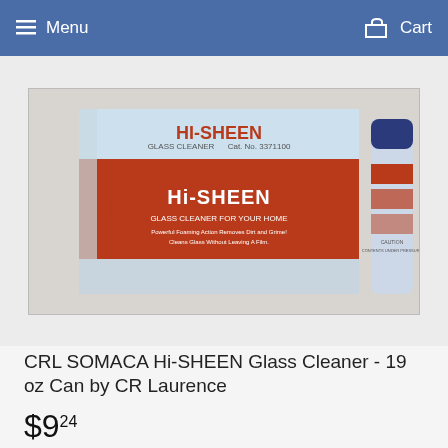Menu   Cart
[Figure (photo): Main product image showing CRL SOMACA Hi-SHEEN Glass Cleaner box and aerosol spray can]
[Figure (photo): Thumbnail 1: CRL SOMACA Hi-SHEEN Glass Cleaner product set]
[Figure (photo): Thumbnail 2: CRL SOMACA Hi-SHEEN Glass Cleaner product set]
CRL SOMACA Hi-SHEEN Glass Cleaner - 19 oz Can by CR Laurence
$9.24